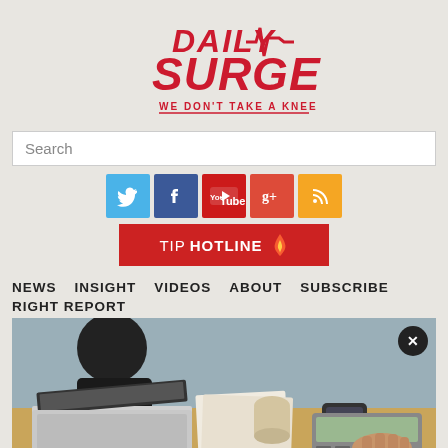[Figure (logo): Daily Surge logo with tagline WE DON'T TAKE A KNEE, red bold italic text with ECG/heartbeat line]
Search
[Figure (infographic): Social media icons row: Twitter (blue), Facebook (blue), YouTube (red), Google+ (red/orange), RSS (orange)]
[Figure (infographic): TIP HOTLINE button in dark red with flame icon]
NEWS  INSIGHT  VIDEOS  ABOUT  SUBSCRIBE
RIGHT REPORT
[Figure (photo): Person working at desk with laptop, papers, phone, and calculator — business/accounting scene]